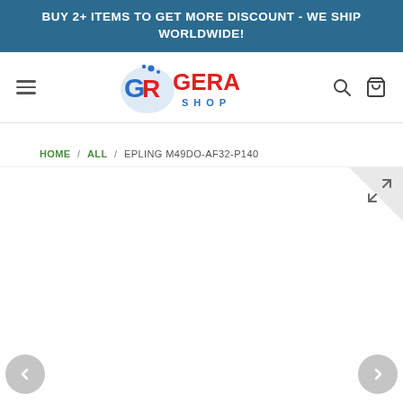BUY 2+ ITEMS TO GET MORE DISCOUNT - WE SHIP WORLDWIDE!
[Figure (logo): GERA SHOP logo with stylized GR letters and bubbles in blue and red]
HOME / ALL / EPLING M49DO-AF32-P140
[Figure (photo): Product image area (blank/white) with expand icon and navigation arrows]